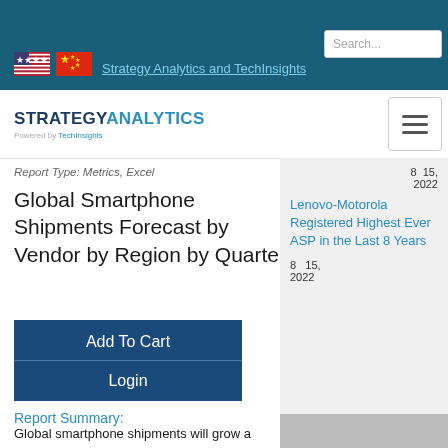Strategy Analytics and TechInsights
[Figure (logo): Strategy Analytics powered by TechInsights logo]
Report Type: Metrics, Excel
Global Smartphone Shipments Forecast by Vendor by Region by Quarter
Add To Cart
Login
Report Summary:
Global smartphone shipments will grow a modest +5% in 2022. Component supply
8  15, 2022
Lenovo-Motorola Registered Highest Ever ASP in the Last 8 Years
8  15, 2022